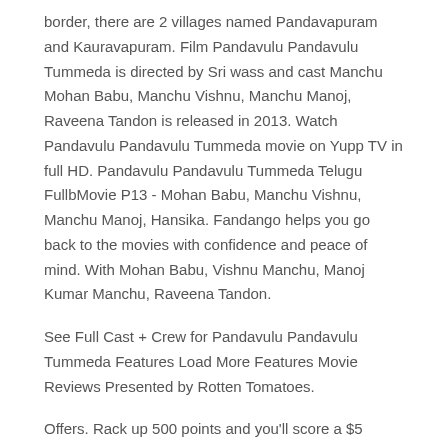border, there are 2 villages named Pandavapuram and Kauravapuram. Film Pandavulu Pandavulu Tummeda is directed by Sri wass and cast Manchu Mohan Babu, Manchu Vishnu, Manchu Manoj, Raveena Tandon is released in 2013. Watch Pandavulu Pandavulu Tummeda movie on Yupp TV in full HD. Pandavulu Pandavulu Tummeda Telugu FullbMovie P13 - Mohan Babu, Manchu Vishnu, Manchu Manoj, Hansika. Fandango helps you go back to the movies with confidence and peace of mind. With Mohan Babu, Vishnu Manchu, Manoj Kumar Manchu, Raveena Tandon.
See Full Cast + Crew for Pandavulu Pandavulu Tummeda Features Load More Features Movie Reviews Presented by Rotten Tomatoes.
Offers. Rack up 500 points and you'll score a $5 reward for more movies. We know life happens, so if something comes up, you can return or exchange your tickets up until the posted showtime.